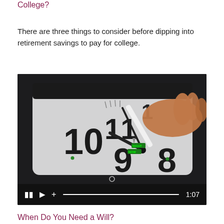College?
There are three things to consider before dipping into retirement savings to pay for college.
[Figure (photo): Video thumbnail showing a hand holding a stylus over a tablet displaying a clock face, with video playback controls (pause, play, volume, progress bar) and duration 1:07 at the bottom]
When Do You Need a Will?